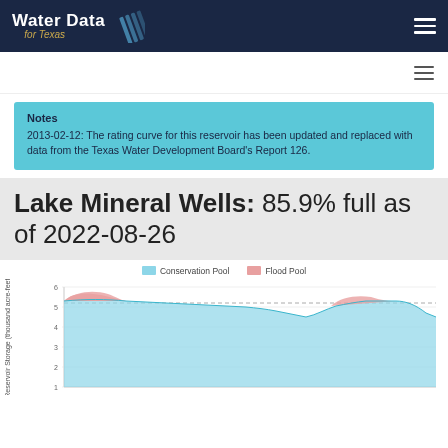Water Data for Texas
Notes
2013-02-12: The rating curve for this reservoir has been updated and replaced with data from the Texas Water Development Board's Report 126.
Lake Mineral Wells: 85.9% full as of 2022-08-26
[Figure (area-chart): Area chart showing Conservation Pool (blue) and Flood Pool (red/pink) reservoir storage in thousand acre-feet over time. The conservation pool area is filled in light blue and stays near 5 thousand acre-feet with slight dip in the middle. A dashed horizontal line marks approximately 5.2 thousand acre-feet. The flood pool shows small red peaks at the start and near three-quarters through the chart.]